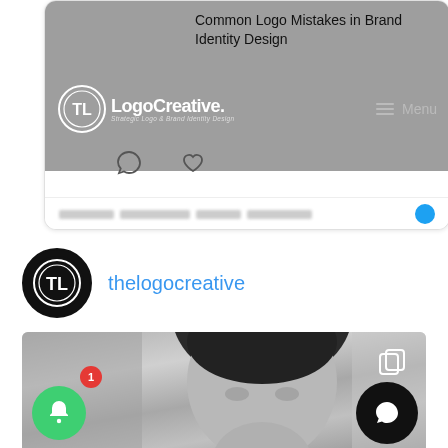[Figure (screenshot): Screenshot of The Logo Creative website showing a blog post titled 'Common Logo Mistakes in Brand Identity Design' with the Logo Creative logo and navigation bar, social icons (comment and heart), and a partially visible bottom bar with blurred text and a Twitter icon.]
thelogocreative
[Figure (photo): Black and white portrait photo of a young man with dark hair, looking slightly to the side. The image is partially cropped. A green notification bell button with badge '1' and a black chat button are overlaid at the bottom.]